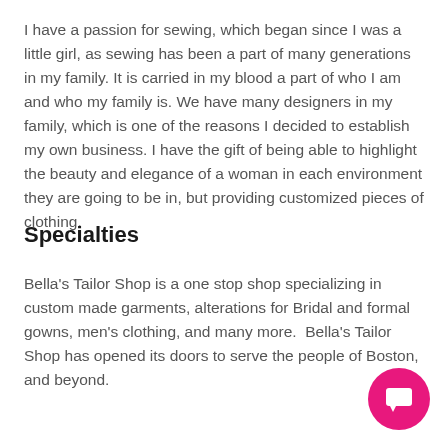I have a passion for sewing, which began since I was a little girl, as sewing has been a part of many generations in my family. It is carried in my blood a part of who I am and who my family is. We have many designers in my family, which is one of the reasons I decided to establish my own business. I have the gift of being able to highlight the beauty and elegance of a woman in each environment they are going to be in, but providing customized pieces of clothing.
Specialties
Bella's Tailor Shop is a one stop shop specializing in custom made garments, alterations for Bridal and formal gowns, men's clothing, and many more.  Bella's Tailor Shop has opened its doors to serve the people of Boston, and beyond.
[Figure (other): Pink circular chat/message button with white speech bubble icon, positioned in bottom-right corner]